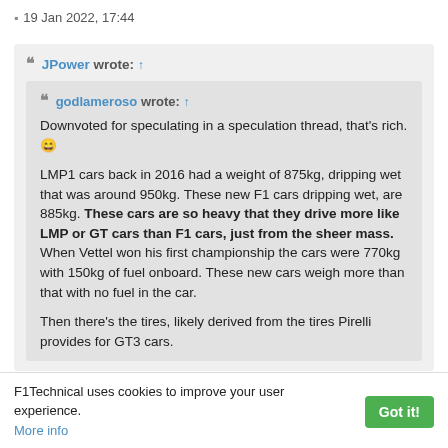19 Jan 2022, 17:44
JPower wrote: ↑
godlameroso wrote: ↑
Downvoted for speculating in a speculation thread, that's rich. 😄

LMP1 cars back in 2016 had a weight of 875kg, dripping wet that was around 950kg. These new F1 cars dripping wet, are 885kg. These cars are so heavy that they drive more like LMP or GT cars than F1 cars, just from the sheer mass. When Vettel won his first championship the cars were 770kg with 150kg of fuel onboard. These new cars weigh more than that with no fuel in the car.

Then there's the tires, likely derived from the tires Pirelli provides for GT3 cars.
F1Technical uses cookies to improve your user experience. More info | Got it!